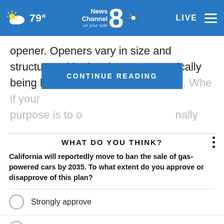News Channel 8 on your side — 79° — LIVE
opener. Openers vary in size and structure, with electric openers typically being larger than manual wine keys. Whe[...] if your purpose is to o[...] nally
CONTINUE READING
WHAT DO YOU THINK?
California will reportedly move to ban the sale of gas-powered cars by 2035. To what extent do you approve or disapprove of this plan?
Strongly approve
Somewhat approve
Somewhat disapprove
Strongly disapprove